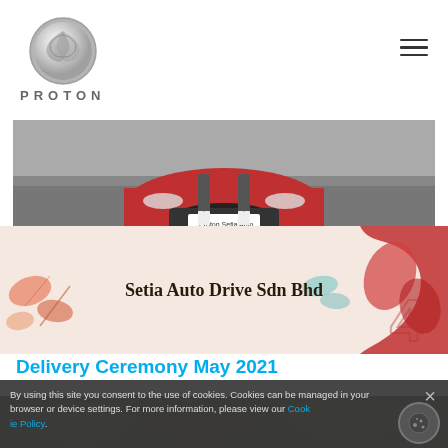[Figure (logo): Proton car brand logo - silver tiger head in circle with PROTON text below]
[Figure (photo): Banner image of a red Proton car from front view with 'Proton Setia Auto' badge, decorative floral elements, and 'Setia Auto Drive Sdn Bhd' text]
Delivery Ceremony May 2021
By using this site you consent to the use of cookies. Cookies can be managed in your browser or device settings. For more information, please view our Cookie Policy.
[Figure (photo): Partial photo at bottom with dark gold/brown tones]